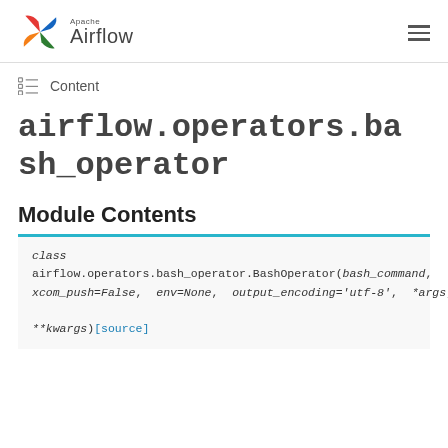Apache Airflow
Content
airflow.operators.bash_operator
Module Contents
class airflow.operators.bash_operator.BashOperator(bash_command, xcom_push=False, env=None, output_encoding='utf-8', *args, **kwargs) [source]